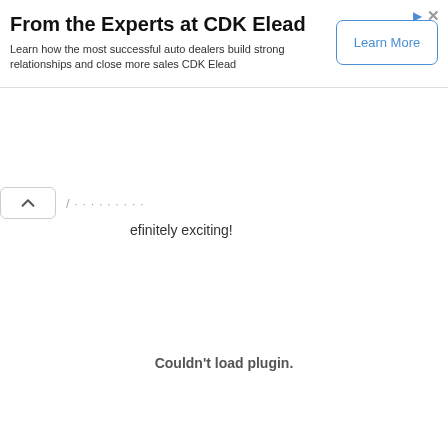[Figure (other): Advertisement banner for CDK Elead with title 'From the Experts at CDK Elead', subtitle text, and a 'Learn More' button. Icons for ad indicator and close button in top-right.]
efinitely exciting!
Couldn't load plugin.